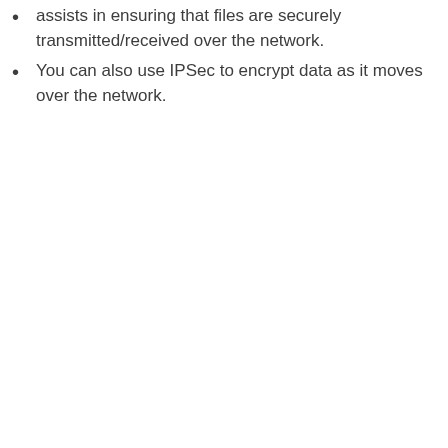assists in ensuring that files are securely transmitted/received over the network.
You can also use IPSec to encrypt data as it moves over the network.